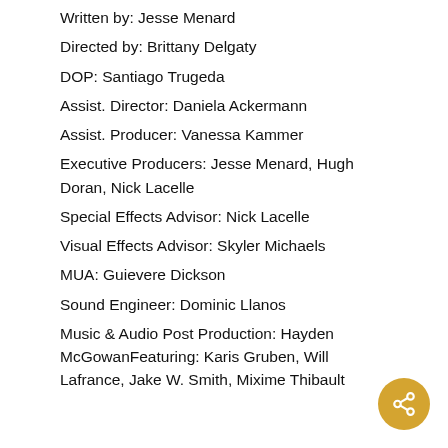Written by: Jesse Menard
Directed by: Brittany Delgaty
DOP: Santiago Trugeda
Assist. Director: Daniela Ackermann
Assist. Producer: Vanessa Kammer
Executive Producers: Jesse Menard, Hugh Doran, Nick Lacelle
Special Effects Advisor: Nick Lacelle
Visual Effects Advisor: Skyler Michaels
MUA: Guievere Dickson
Sound Engineer: Dominic Llanos
Music & Audio Post Production: Hayden McGowanFeaturing: Karis Gruben, Will Lafrance, Jake W. Smith, Mixime Thibault